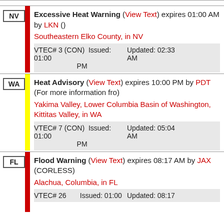NV | Excessive Heat Warning (View Text) expires 01:00 AM by LKN () Southeastern Elko County, in NV VTEC# 3 (CON) Issued: 01:00 PM Updated: 02:33 AM
WA | Heat Advisory (View Text) expires 10:00 PM by PDT (For more information fro) Yakima Valley, Lower Columbia Basin of Washington, Kittitas Valley, in WA VTEC# 7 (CON) Issued: 01:00 PM Updated: 05:04 AM
FL | Flood Warning (View Text) expires 08:17 AM by JAX (CORLESS) Alachua, Columbia, in FL VTEC# 26 Issued: 01:00 Updated: 08:17